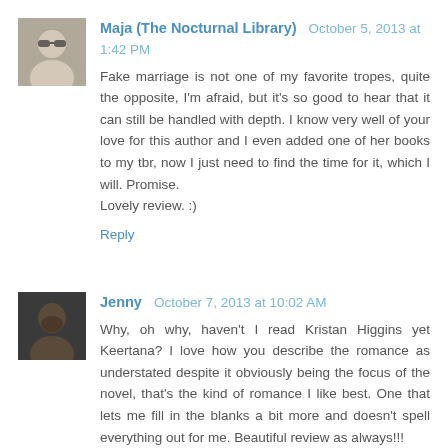Maja (The Nocturnal Library)  October 5, 2013 at 1:42 PM
Fake marriage is not one of my favorite tropes, quite the opposite, I'm afraid, but it's so good to hear that it can still be handled with depth. I know very well of your love for this author and I even added one of her books to my tbr, now I just need to find the time for it, which I will. Promise.
Lovely review. :)
Reply
Jenny  October 7, 2013 at 10:02 AM
Why, oh why, haven't I read Kristan Higgins yet Keertana? I love how you describe the romance as understated despite it obviously being the focus of the novel, that's the kind of romance I like best. One that lets me fill in the blanks a bit more and doesn't spell everything out for me. Beautiful review as always!!!
Reply